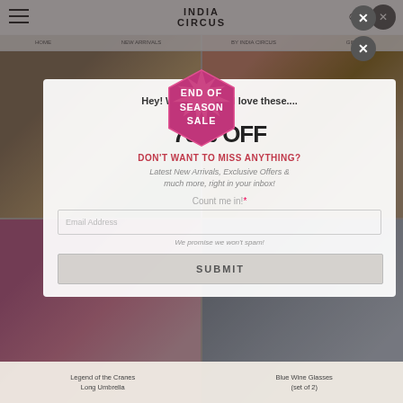HOME   NEW ARRIVALS   BY INDIA CIRCUS   GIFTING
[Figure (infographic): Hexagonal badge with pink/magenta starburst background reading END OF SEASON SALE]
Hey! We think you'd love these....
UPTO
70% OFF
DON'T WANT TO MISS ANYTHING?
Latest New Arrivals, Exclusive Offers & much more, right in your inbox!
Count me in!*
Email Address
We promise we won't spam!
SUBMIT
Legend of the Cranes
Long Umbrella
Blue Wine Glasses
(set of 2)